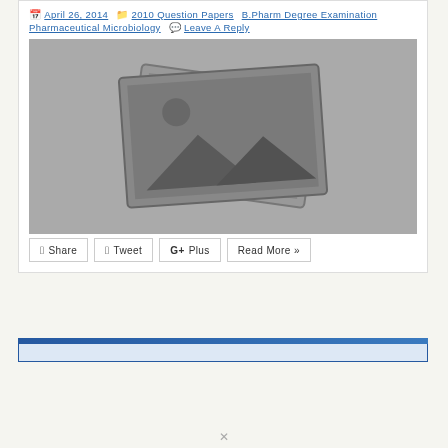April 26, 2014    2010 Question Papers  B.Pharm Degree Examination  Pharmaceutical Microbiology   Leave A Reply
[Figure (illustration): Placeholder image graphic showing two overlapping photo frames with a landscape/mountain icon and sun, all in gray tones on a gray background.]
Share   Tweet   G+Plus   Read More